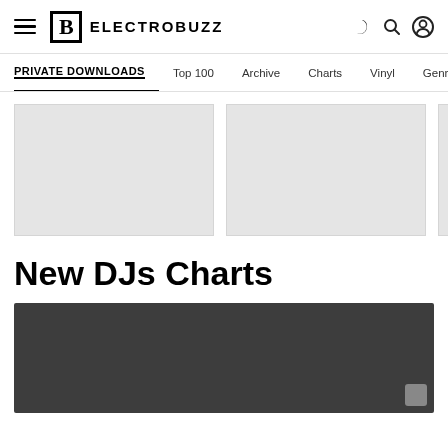ELECTROBUZZ
PRIVATE DOWNLOADS
Top 100
Archive
Charts
Vinyl
Genre
[Figure (other): Three placeholder card images in light gray]
New DJs Charts
[Figure (other): Dark gray large card/banner placeholder]